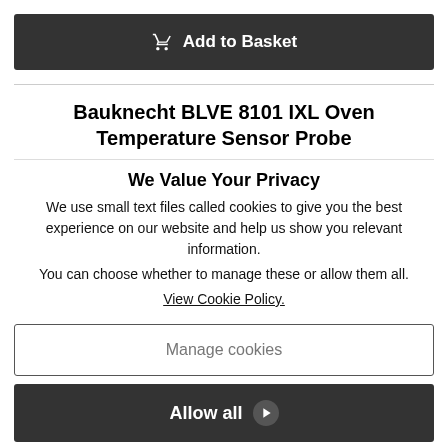[Figure (other): Add to Basket button with shopping cart icon, dark background]
Bauknecht BLVE 8101 IXL Oven Temperature Sensor Probe
We Value Your Privacy
We use small text files called cookies to give you the best experience on our website and help us show you relevant information.
You can choose whether to manage these or allow them all.
View Cookie Policy.
[Figure (other): Manage cookies button with border outline]
[Figure (other): Allow all button with arrow circle, dark background]